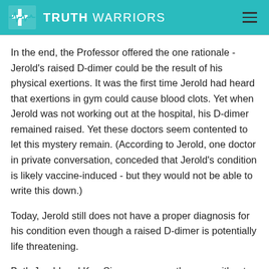TRUTH WARRIORS
In the end, the Professor offered the one rationale - Jerold's raised D-dimer could be the result of his physical exertions. It was the first time Jerold had heard that exertions in gym could cause blood clots. Yet when Jerold was not working out at the hospital, his D-dimer remained raised. Yet these doctors seem contented to let this mystery remain. (According to Jerold, one doctor in private conversation, conceded that Jerold's condition is likely vaccine-induced - but they would not be able to write this down.)
Today, Jerold still does not have a proper diagnosis for his condition even though a raised D-dimer is potentially life threatening.
Both Jerold and Kee Siang are angry they are without